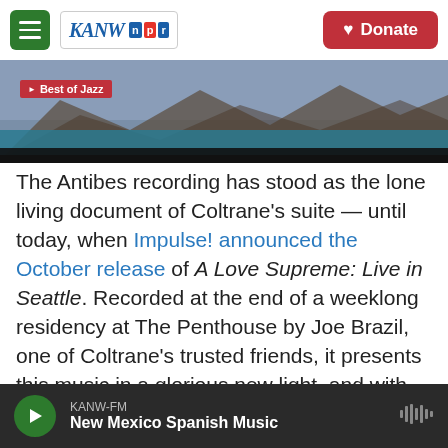KANW NPR | Donate
[Figure (screenshot): Hero image of mountains with dark clouds and teal water; 'Best of Jazz' label overlay with play icon]
The Antibes recording has stood as the lone living document of Coltrane's suite — until today, when Impulse! announced the October release of A Love Supreme: Live in Seattle. Recorded at the end of a weeklong residency at The Penthouse by Joe Brazil, one of Coltrane's trusted friends, it presents this music in a glorious new light, and with remarkably clear sound. (Brazil used the club system, two microphones and an Ampex reel-to-reel, and then preserved the tapes for nearly half a century, as if guarding a Holy Grail. They were
KANW-FM | New Mexico Spanish Music